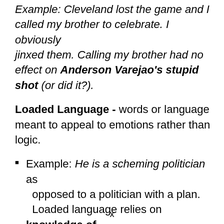Example: Cleveland lost the game and I called my brother to celebrate. I obviously jinxed them. Calling my brother had no effect on Anderson Varejao's stupid shot (or did it?).
Loaded Language - words or language meant to appeal to emotions rather than logic.
Example: He is a scheming politician as opposed to a politician with a plan. Loaded language relies on knowledge of word connotation.
x